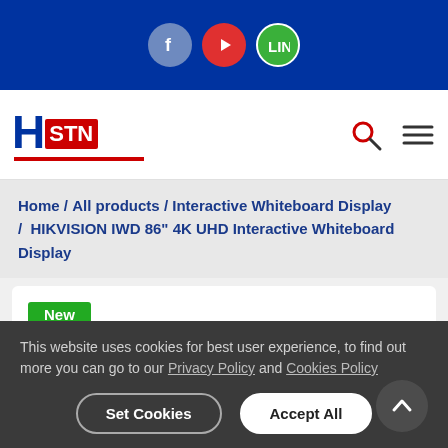[Figure (logo): Social media icons: Facebook (blue circle), YouTube (red circle), LINE (green circle) on dark blue top bar]
[Figure (logo): HSTN logo with H in blue and STN in red box, with red underline]
Home / All products / Interactive Whiteboard Display / HIKVISION IWD 86" 4K UHD Interactive Whiteboard Display
[Figure (other): Product card area with green 'New' badge]
This website uses cookies for best user experience, to find out more you can go to our Privacy Policy and Cookies Policy
Set Cookies
Accept All